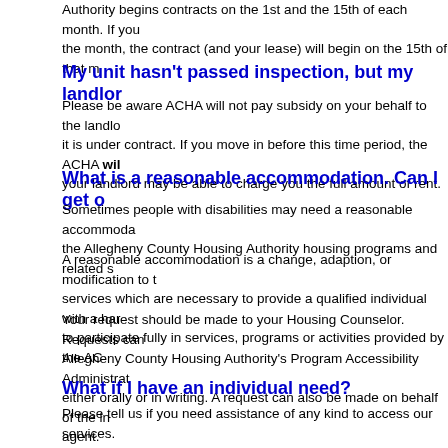Authority begins contracts on the 1st and the 15th of each month. If you the month, the contract (and your lease) will begin on the 15th of that m
My unit hasn't passed inspection, but my landlor
Please be aware ACHA will not pay subsidy on your behalf to the landlo it is under contract. If you move in before this time period, the ACHA will your landlord may be able to charge you the full amount of rent.
What is a reasonable accommodation. Can I get o
Sometimes people with disabilities may need a reasonable accommoda the Allegheny County Housing Authority housing programs and related s
A reasonable accommodation is a change, adaption, or modification to t services which are necessary to provide a qualified individual with a har to participate fully in services, programs or activities provided by the AC
Your request should be made to your Housing Counselor. Requests can Allegheny County Housing Authority's Program Accessibility Administrat either orally or in writing. A request can also be made on behalf of the in agent.
What if I have an individual need?
Please tell us if you need assistance of any kind to access our services. translator, tell us, and we will provide one for you.
I have a specific question that isn't answ ere answer?
If your question isn't answered in this list, please email your question(s)